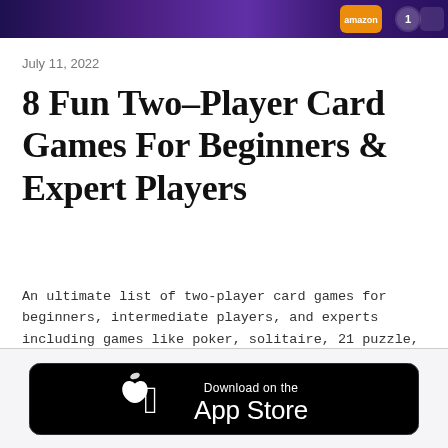[Figure (illustration): App promotional banner with purple/dark gradient background and icons including Amazon and other app badges on the right side]
July 11, 2022
8 Fun Two-Player Card Games For Beginners & Expert Players
An ultimate list of two-player card games for beginners, intermediate players, and experts including games like poker, solitaire, 21 puzzle, and more.
[Figure (screenshot): Download on the App Store button — black rounded rectangle with Apple logo and text 'Download on the App Store']